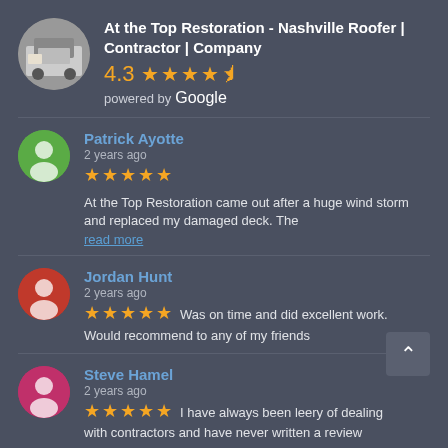At the Top Restoration - Nashville Roofer | Contractor | Company
4.3 ★★★★½ powered by Google
Patrick Ayotte
2 years ago
★★★★★ At the Top Restoration came out after a huge wind storm and replaced my damaged deck. The
read more
Jordan Hunt
2 years ago
★★★★★ Was on time and did excellent work. Would recommend to any of my friends
Steve Hamel
2 years ago
★★★★★ I have always been leery of dealing with contractors and have never written a review